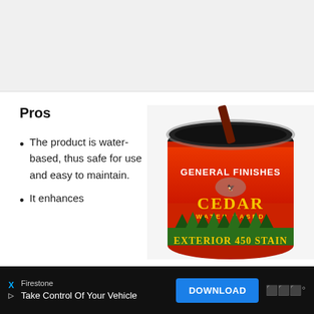[Figure (photo): Gray/white blank area at top of page, possibly an image placeholder or advertisement space]
Pros
The product is water-based, thus safe for use and easy to maintain.
It enhances
[Figure (photo): Can of General Finishes Cedar Water Based Exterior 450 Stain, with dark red/brown stain being poured into the open can. The can label is red and yellow.]
Firestone
Take Control Of Your Vehicle
DOWNLOAD